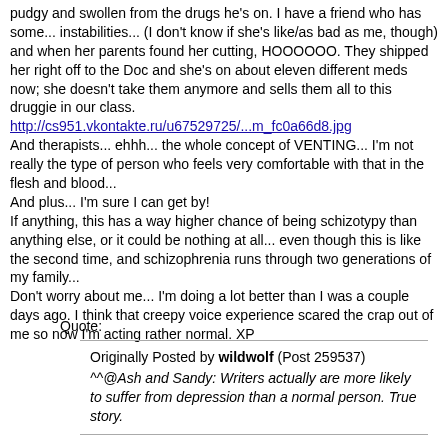pudgy and swollen from the drugs he's on. I have a friend who has some... instabilities... (I don't know if she's like/as bad as me, though) and when her parents found her cutting, HOOOOOO. They shipped her right off to the Doc and she's on about eleven different meds now; she doesn't take them anymore and sells them all to this druggie in our class.
http://cs951.vkontakte.ru/u67529725/...m_fc0a66d8.jpg
And therapists... ehhh... the whole concept of VENTING... I'm not really the type of person who feels very comfortable with that in the flesh and blood...
And plus... I'm sure I can get by!
If anything, this has a way higher chance of being schizotypy than anything else, or it could be nothing at all... even though this is like the second time, and schizophrenia runs through two generations of my family...
Don't worry about me... I'm doing a lot better than I was a couple days ago. I think that creepy voice experience scared the crap out of me so now I'm acting rather normal. XP
Quote:
Originally Posted by wildwolf (Post 259537)
^^@Ash and Sandy: Writers actually are more likely to suffer from depression than a normal person. True story.